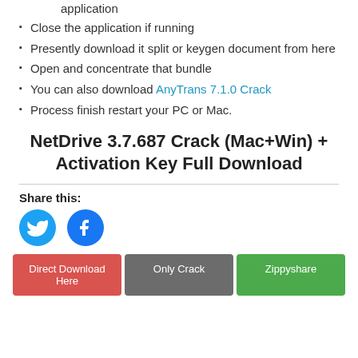application
Close the application if running
Presently download it split or keygen document from here
Open and concentrate that bundle
You can also download AnyTrans 7.1.0 Crack
Process finish restart your PC or Mac.
NetDrive 3.7.687 Crack (Mac+Win) + Activation Key Full Download
Share this:
[Figure (infographic): Twitter and Facebook share icons (circular blue buttons)]
Direct Download Here | Only Crack | Zippyshare